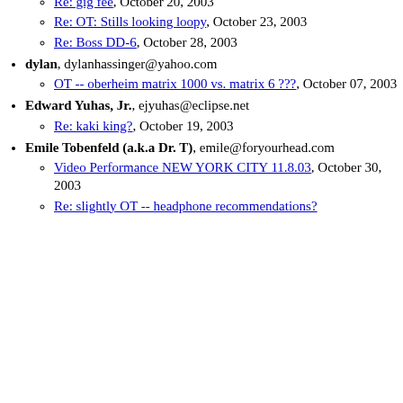Re: gig fee, October 20, 2003
Re: OT: Stills looking loopy, October 23, 2003
Re: Boss DD-6, October 28, 2003
dylan, dylanhassinger@yahoo.com
OT -- oberheim matrix 1000 vs. matrix 6 ???, October 07, 2003
Edward Yuhas, Jr., ejyuhas@eclipse.net
Re: kaki king?, October 19, 2003
Emile Tobenfeld (a.k.a Dr. T), emile@foryourhead.com
Video Performance NEW YORK CITY 11.8.03, October 30, 2003
Re: slightly OT -- headphone recommendations?